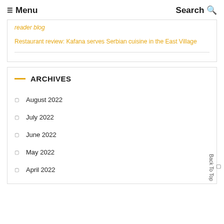Menu   Search
reader blog
Restaurant review: Kafana serves Serbian cuisine in the East Village
ARCHIVES
August 2022
July 2022
June 2022
May 2022
April 2022